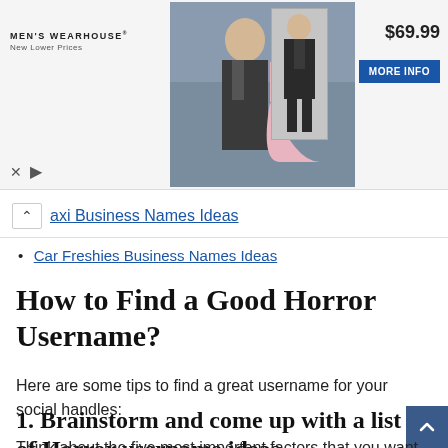[Figure (photo): Men's Wearhouse advertisement banner featuring a couple dressed formally (man in dark suit, woman in pink dress) and a child in a suit. Price shown as $69.99 with a 'MORE INFO' button.]
Taxi Business Names Ideas
Car Freshies Business Names Ideas
How to Find a Good Horror Username?
Here are some tips to find a great username for your social handles:
1. Brainstorm and come up with a list of Horror username ideas.
Think about the five most important factors that you want